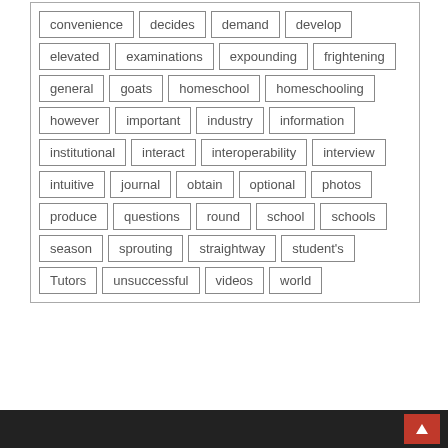convenience, decides, demand, develop, elevated, examinations, expounding, frightening, general, goats, homeschool, homeschooling, however, important, industry, information, institutional, interact, interoperability, interview, intuitive, journal, obtain, optional, photos, produce, questions, round, school, schools, season, sprouting, straightway, student's, Tutors, unsuccessful, videos, world